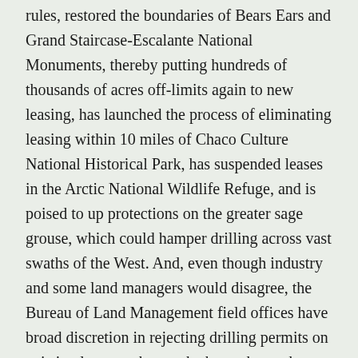rules, restored the boundaries of Bears Ears and Grand Staircase-Escalante National Monuments, thereby putting hundreds of thousands of acres off-limits again to new leasing, has launched the process of eliminating leasing within 10 miles of Chaco Culture National Historical Park, has suspended leases in the Arctic National Wildlife Refuge, and is poised to up protections on the greater sage grouse, which could hamper drilling across vast swaths of the West. And, even though industry and some land managers would disagree, the Bureau of Land Management field offices have broad discretion in rejecting drilling permits on existing leases—the graph above shows that they've not exercised that discretion, however.
It appears that the Biden administration is refraining from tackling pollution and climate change on a